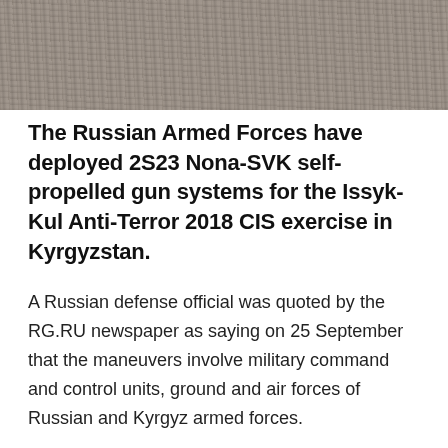[Figure (photo): Partial view of a gravelly or sandy terrain surface, likely ground from a military exercise area. The image is cropped to show only the top portion of the photo.]
The Russian Armed Forces have deployed 2S23 Nona-SVK self-propelled gun systems for the Issyk-Kul Anti-Terror 2018 CIS exercise in Kyrgyzstan.
A Russian defense official was quoted by the RG.RU newspaper as saying on 25 September that the maneuvers involve military command and control units, ground and air forces of Russian and Kyrgyz armed forces.
The drills will involve in total some 2,000 troops from the two countries and almost 400 pieces of military hardware including aircraft.